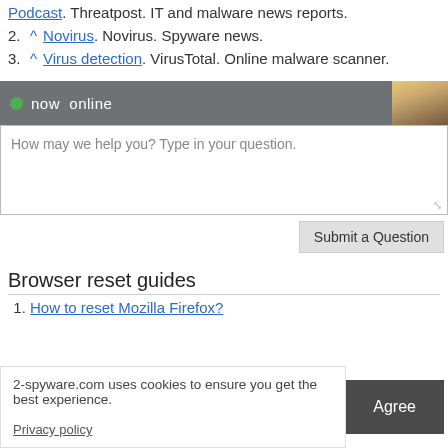Podcast. Threatpost. IT and malware news reports.
2. ^ Novirus. Novirus. Spyware news.
3. ^ Virus detection. VirusTotal. Online malware scanner.
[Figure (screenshot): Chat widget bar with 'now online' indicator, avatar photo, and text area saying 'How may we help you? Type in your question.' with a Submit a Question button.]
Browser reset guides
1. How to reset Mozilla Firefox?
2-spyware.com uses cookies to ensure you get the best experience.
Privacy policy
Agree